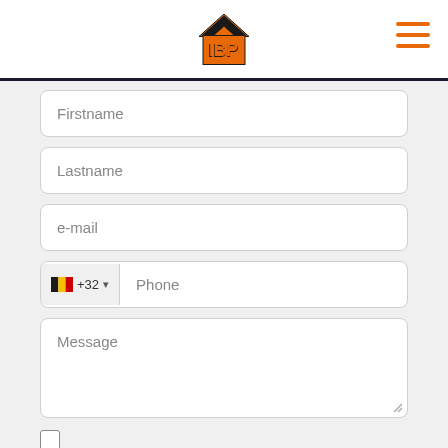[Figure (logo): IBP logo — orange house shape with IBP letters in orange and black]
Firstname
Lastname
e-mail
🇧🇪 +32 ▾  Phone
Message
I have read and accept the privacy policy of this site